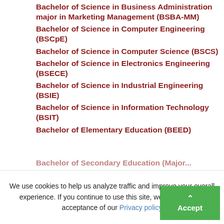Bachelor of Science in Business Administration major in Marketing Management (BSBA-MM)
Bachelor of Science in Computer Engineering (BSCpE)
Bachelor of Science in Computer Science (BSCS)
Bachelor of Science in Electronics Engineering (BSECE)
Bachelor of Science in Industrial Engineering (BSIE)
Bachelor of Science in Information Technology (BSIT)
Bachelor of Elementary Education (BEED)
Bachelor of Secondary Education (...)
We use cookies to help us analyze traffic and improve your overall experience. If you continue to use this site, we assume your acceptance of our Privacy policy